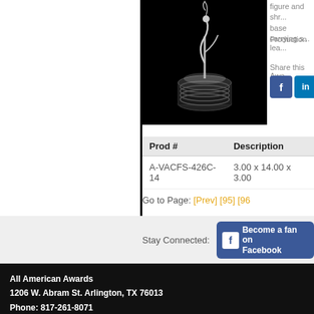[Figure (photo): Award trophy figure on black background, appearing to be a stylized silver figure on a cylindrical base]
figure and shr... base carrying s...
Production lea...
Share this Awa...
| Prod # | Description |
| --- | --- |
| A-VACFS-426C-14 | 3.00 x 14.00 x 3.00 |
Go to Page: [Prev] [95] [96...]
Stay Connected: Become a fan on Facebook
All American Awards
1206 W. Abram St. Arlington, TX 76013
Phone: 817-261-8071